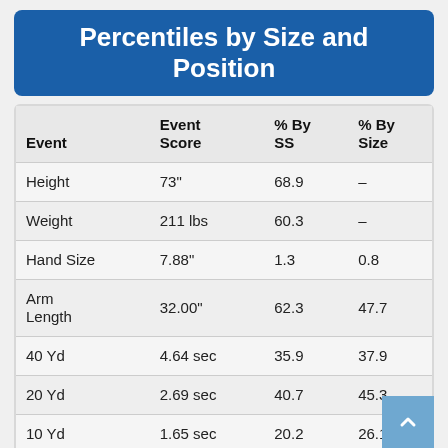Percentiles by Size and Position
| Event | Event Score | % By SS | % By Size |
| --- | --- | --- | --- |
| Height | 73" | 68.9 | – |
| Weight | 211 lbs | 60.3 | – |
| Hand Size | 7.88" | 1.3 | 0.8 |
| Arm Length | 32.00" | 62.3 | 47.7 |
| 40 Yd | 4.64 sec | 35.9 | 37.9 |
| 20 Yd | 2.69 sec | 40.7 | 45.3 |
| 10 Yd | 1.65 sec | 20.2 | 26.1 |
| Bench | 15 reps | 32.8 | 30.6 |
| Vertical | 28.5" | 2.4 | 6.1 |
| Broad |  |  |  |